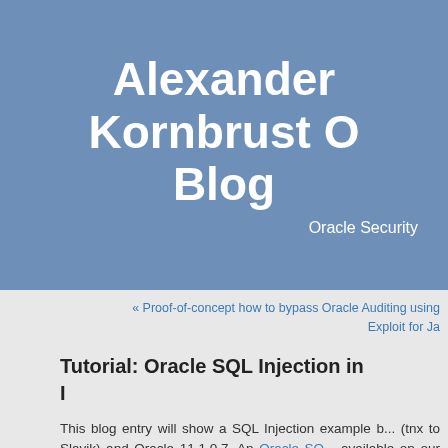Alexander Kornbrust Oracle Blog
Oracle Security
« Proof-of-concept how to bypass Oracle Auditing using ... Exploit for Ja...
Tutorial: Oracle SQL Injection in ... I
This blog entry will show a SQL Injection example b... (tnx to Slavik) and Oracle 11.1.0.7. An Oracle SQL... available on our webpage.
With Oracle 11g, Oracle introduced some security... e.g. the ACL for PLSQL packages accessing the net... UTL_HTTP, UTL_INADB, UTL_TCP...